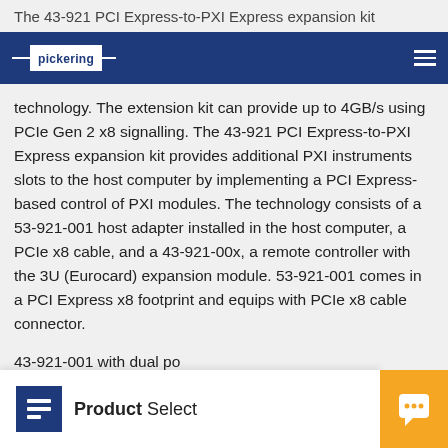The 43-921 PCI Express-to-PXI Express expansion kit
[Figure (logo): Pickering logo on dark blue navigation bar with hamburger menu icon]
technology. The extension kit can provide up to 4GB/s using PCIe Gen 2 x8 signalling. The 43-921 PCI Express-to-PXI Express expansion kit provides additional PXI instruments slots to the host computer by implementing a PCI Express-based control of PXI modules. The technology consists of a 53-921-001 host adapter installed in the host computer, a PCIe x8 cable, and a 43-921-00x, a remote controller with the 3U (Eurocard) expansion module. 53-921-001 comes in a PCI Express x8 footprint and equips with PCIe x8 cable connector.
43-921-001 with dual po chassis control as a da port would be connected to a 53-921-001 which be
[Figure (logo): Product Selector overlay with blue square logo icon and chat button in orange]